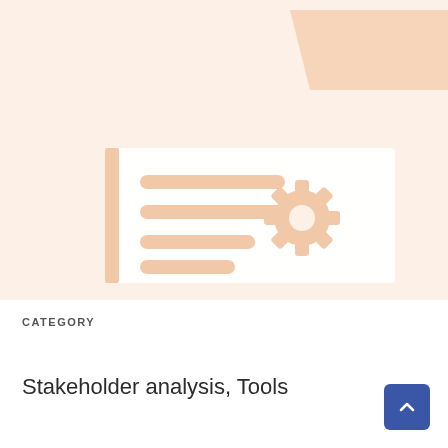Stakeholder Analysis bundle
[Figure (illustration): Decorative illustration on a peach/cream background showing a document with horizontal lines and a gear/settings icon, with a laptop/screen shape in upper right corner]
CATEGORY
Stakeholder analysis, Tools